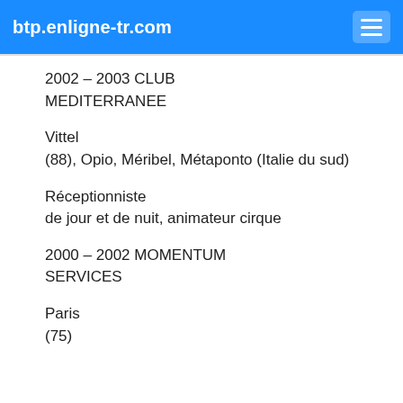btp.enligne-tr.com
2002 – 2003 CLUB MEDITERRANEE
Vittel (88), Opio, Méribel, Métaponto (Italie du sud)
Réceptionniste de jour et de nuit, animateur cirque
2000 – 2002 MOMENTUM SERVICES
Paris (75)